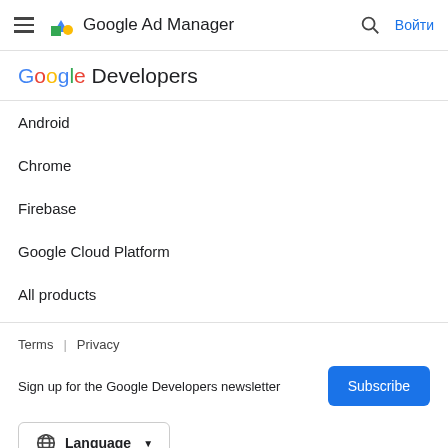Google Ad Manager — Войти
Google Developers
Android
Chrome
Firebase
Google Cloud Platform
All products
Terms  |  Privacy
Sign up for the Google Developers newsletter
Subscribe
Language